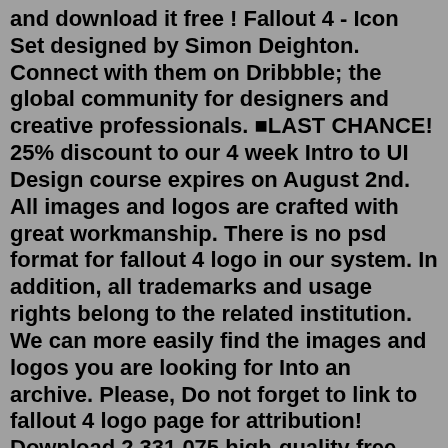and download it free ! Fallout 4 - Icon Set designed by Simon Deighton. Connect with them on Dribbble; the global community for designers and creative professionals. ■LAST CHANCE! 25% discount to our 4 week Intro to UI Design course expires on August 2nd. All images and logos are crafted with great workmanship. There is no psd format for fallout 4 logo in our system. In addition, all trademarks and usage rights belong to the related institution. We can more easily find the images and logos you are looking for Into an archive. Please, Do not forget to link to fallout 4 logo page for attribution! Download 2,331,075 high-quality free vector icons for all your design, marketing, and development needs. Available in various icon styles and file formats such as SVG, PNG, and more.Fallout 4 logo, icons, map & text are the property of Bethesda Softworks. use the new map! ... Nov 09, 2015 · Fallout 4. Follow. $14.88 on Walmart. Buy. GameSpot may get a commission from retail offers. You've just booted up Fallout 4 for the first time, and...